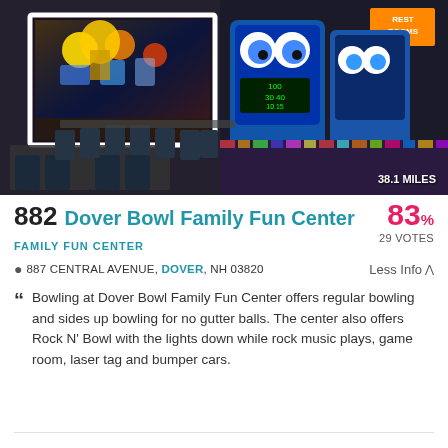[Figure (photo): Interior of Dover Bowl Family Fun Center showing dining area with black chairs and tables in foreground, and arcade games including tall colorful arcade machines with cartoon eyes in background, with colorful carpet and bright neon lighting. '38.1 MILES' badge in bottom right.]
882 Dover Bowl Family Fun Center
83% 29 VOTES
FAMILY FUN CENTER
887 CENTRAL AVENUE, DOVER, NH 03820
Less Info ^
Bowling at Dover Bowl Family Fun Center offers regular bowling and sides up bowling for no gutter balls. The center also offers Rock N' Bowl with the lights down while rock music plays, game room, laser tag and bumper cars.